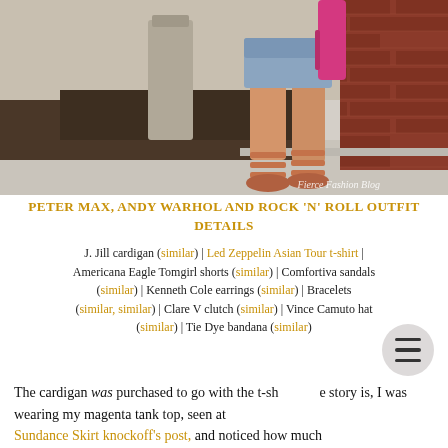[Figure (photo): Fashion blog photo showing a woman from waist down wearing denim shorts, orange/tan strappy sandals, leaning against a red brick wall. She is holding a magenta/pink bag. Outdoor setting with concrete, mulch, and sidewalk visible. Watermark reads 'Fierce Fashion Blog'.]
PETER MAX, ANDY WARHOL AND ROCK 'N' ROLL OUTFIT DETAILS
J. Jill cardigan (similar) | Led Zeppelin Asian Tour t-shirt | Americana Eagle Tomgirl shorts (similar) | Comfortiva sandals (similar) | Kenneth Cole earrings (similar) | Bracelets (similar, similar) | Clare V clutch (similar) | Vince Camuto hat (similar) | Tie Dye bandana (similar)
The cardigan was purchased to go with the t-shirt. The story is, I was wearing my magenta tank top, seen at Sundance Skirt knockoff's post, and noticed how much